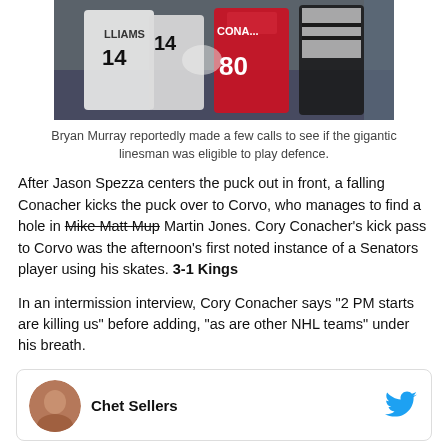[Figure (photo): Hockey fight scene showing players in white and red jerseys with referees, jersey numbers 14 and 80 visible]
Bryan Murray reportedly made a few calls to see if the gigantic linesman was eligible to play defence.
After Jason Spezza centers the puck out in front, a falling Conacher kicks the puck over to Corvo, who manages to find a hole in Mike Matt Mup Martin Jones. Cory Conacher's kick pass to Corvo was the afternoon's first noted instance of a Senators player using his skates. 3-1 Kings
In an intermission interview, Cory Conacher says "2 PM starts are killing us" before adding, "as are other NHL teams" under his breath.
Chet Sellers